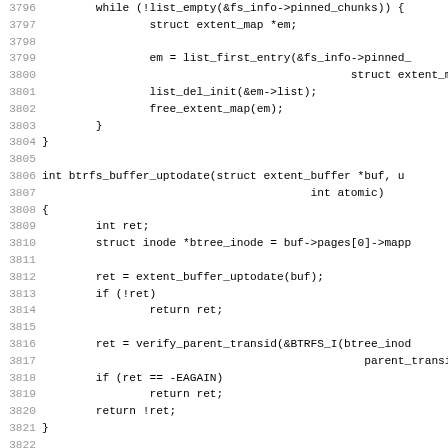[Figure (screenshot): Source code listing showing C code for btrfs kernel functions, lines 3796-3827, with line numbers in gray on left and a red vertical bar marking the left margin. Functions include btrfs_buffer_uptodate and btrfs_mark_buffer_dirty.]